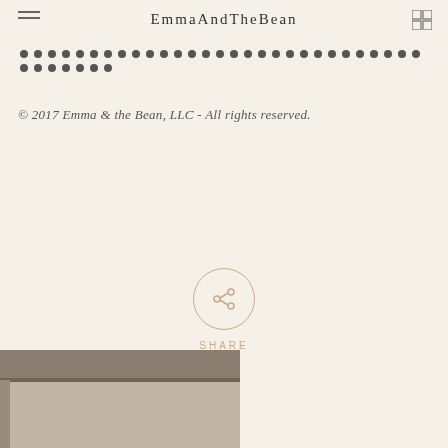EmmaAndTheBean
[Figure (other): Decorative dotted line divider spanning the width of the page]
© 2017 Emma & the Bean, LLC - All rights reserved.
[Figure (other): Share button: circle with share icon and SHARE label below]
[Figure (photo): Partial photo visible at bottom left corner showing what appears to be a framed photo or window with wooden elements]